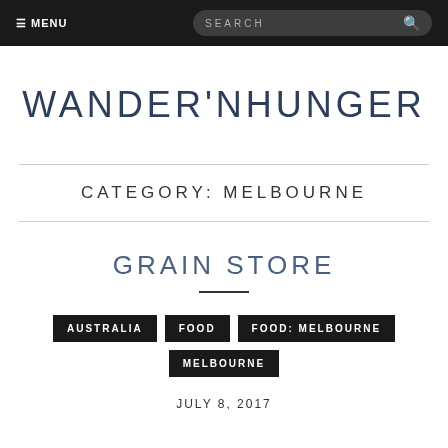≡ MENU  SEARCH
WANDER'NHUNGER
CATEGORY: MELBOURNE
GRAIN STORE
AUSTRALIA
FOOD
FOOD: MELBOURNE
MELBOURNE
JULY 8, 2017